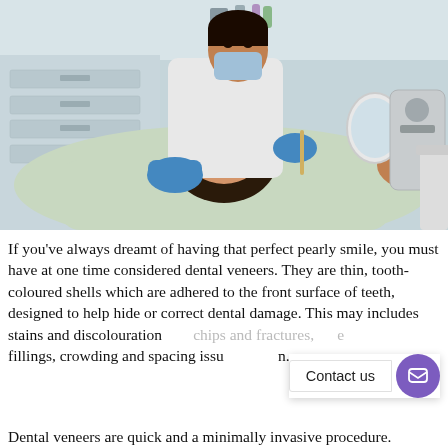[Figure (photo): A dentist wearing a blue surgical mask and gloves examines a female patient lying in a dental chair. The dentist is holding dental tools and a mirror. The dental office has light-coloured cabinetry in the background.]
If you've always dreamt of having that perfect pearly smile, you must have at one time considered dental veneers. They are thin, tooth-coloured shells which are adhered to the front surface of teeth, designed to help hide or correct dental damage. This may includes stains and discolouration, chips and fractures, composite fillings, crowding and spacing issues, and much more.
Dental veneers are quick and a minimally invasive procedure.